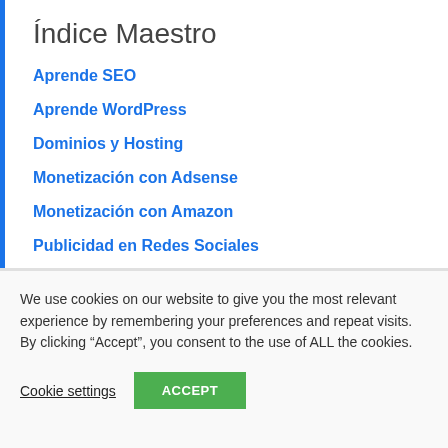Índice Maestro
Aprende SEO
Aprende WordPress
Dominios y Hosting
Monetización con Adsense
Monetización con Amazon
Publicidad en Redes Sociales
We use cookies on our website to give you the most relevant experience by remembering your preferences and repeat visits. By clicking “Accept”, you consent to the use of ALL the cookies.
Cookie settings  ACCEPT